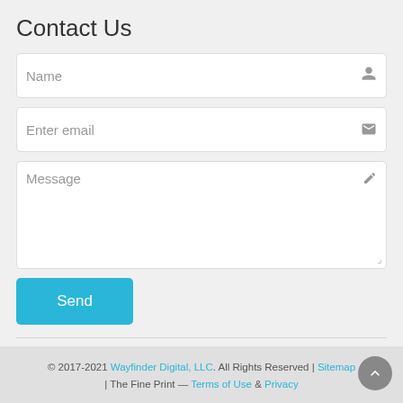Contact Us
[Figure (screenshot): Contact form with Name, Enter email, Message input fields and a Send button]
© 2017-2021 Wayfinder Digital, LLC. All Rights Reserved | Sitemap | The Fine Print — Terms of Use & Privacy